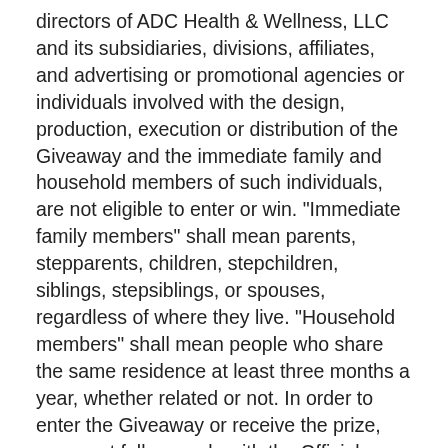directors of ADC Health & Wellness, LLC and its subsidiaries, divisions, affiliates, and advertising or promotional agencies or individuals involved with the design, production, execution or distribution of the Giveaway and the immediate family and household members of such individuals, are not eligible to enter or win. "Immediate family members" shall mean parents, stepparents, children, stepchildren, siblings, stepsiblings, or spouses, regardless of where they live. "Household members" shall mean people who share the same residence at least three months a year, whether related or not. In order to enter the Giveaway or receive the prize, you must fully comply with the Official Rules and, by entering, you represent and warrant that you agree to be bound by these Official Rules and the decisions of the Sponsor, whose decisions shall be binding and final in all respects relating to this Giveaway. Giveaway is governed by these Official Rules and is subject to all applicable federal, state and local laws.